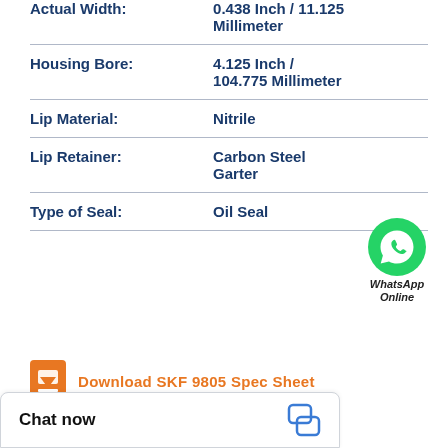| Property | Value |
| --- | --- |
| Actual Width: | 0.438 Inch / 11.125 Millimeter |
| Housing Bore: | 4.125 Inch / 104.775 Millimeter |
| Lip Material: | Nitrile |
| Lip Retainer: | Carbon Steel Garter |
| Type of Seal: | Oil Seal |
[Figure (logo): WhatsApp green phone icon circle with WhatsApp Online text below]
Download SKF 9805 Spec Sheet
Chat now